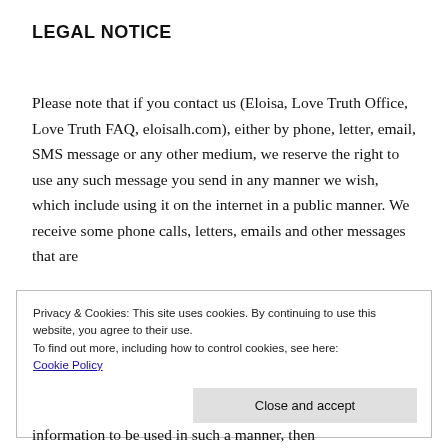LEGAL NOTICE
Please note that if you contact us (Eloisa, Love Truth Office, Love Truth FAQ, eloisalh.com), either by phone, letter, email, SMS message or any other medium, we reserve the right to use any such message you send in any manner we wish, which include using it on the internet in a public manner. We receive some phone calls, letters, emails and other messages that are
Privacy & Cookies: This site uses cookies. By continuing to use this website, you agree to their use.
To find out more, including how to control cookies, see here: Cookie Policy
information to be used in such a manner, then